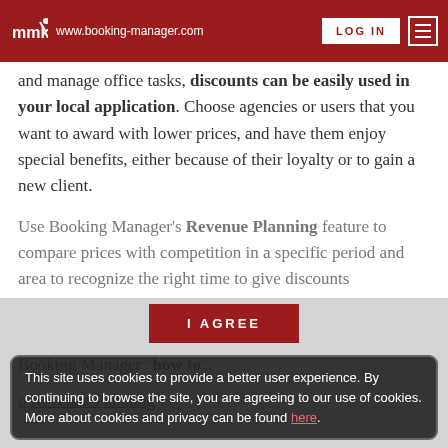mmk | www.booking-manager.com | LOG IN
and manage office tasks, discounts can be easily used in your local application. Choose agencies or users that you want to award with lower prices, and have them enjoy special benefits, either because of their loyalty or to gain a new client.
Use Booking Manager's Revenue Planning feature to compare prices with competition in a specific period and area to recognize the right time to give discounts
I AGREE
This site uses cookies to provide a better user experience. By continuing to browse the site, you are agreeing to our use of cookies. More about cookies and privacy can be found here.